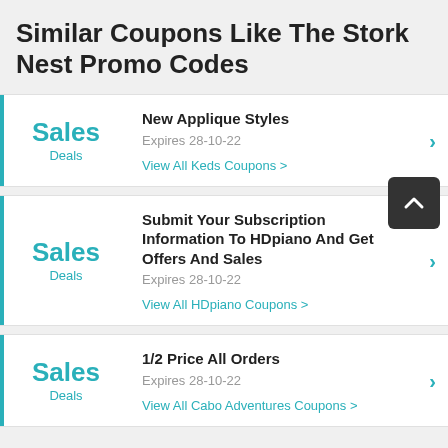Similar Coupons Like The Stork Nest Promo Codes
Sales / Deals — New Applique Styles — Expires 28-10-22 — View All Keds Coupons
Sales / Deals — Submit Your Subscription Information To HDpiano And Get Offers And Sales — Expires 28-10-22 — View All HDpiano Coupons
Sales / Deals — 1/2 Price All Orders — Expires 28-10-22 — View All Cabo Adventures Coupons